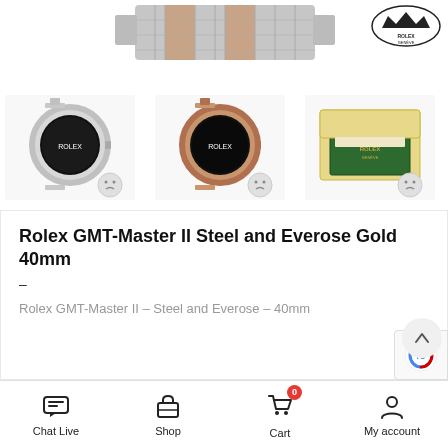[Figure (photo): Rolex GMT-Master II watch bracelet close-up (top center), Rolex logo badge (top right), three product thumbnails: silver watch, rose gold watch, and Rolex green/yellow gift box]
Rolex GMT-Master II Steel and Everose Gold 40mm
–
Rolex GMT-Master II – Steel and Everose – 40mm
Chat Live  Shop  Cart 0  My account